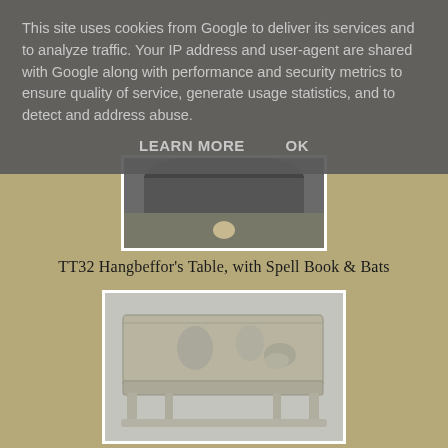This site uses cookies from Google to deliver its services and to analyze traffic. Your IP address and user-agent are shared with Google along with performance and security metrics to ensure quality of service, generate usage statistics, and to detect and address abuse.
LEARN MORE   OK
[Figure (photo): Close-up photo of bottom portion of a circular metal object on grey background, showing a small protrusion at bottom]
TT32 Hangbeffor's Table, with Spell Book & Bats
[Figure (photo): Photo of a pewter/silver miniature table figurine with decorative relief showing figures and items on top, with legs visible underneath, on grey background]